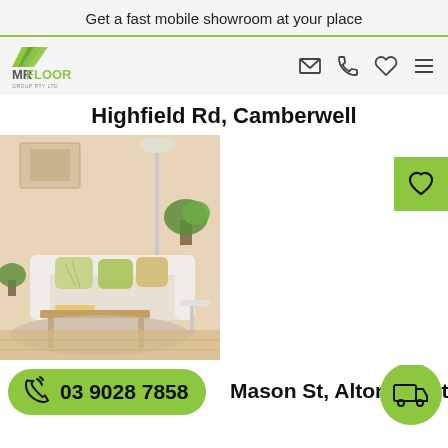Get a fast mobile showroom at your place
[Figure (logo): Mr Floor Group Pty Ltd logo with green diagonal stripes]
Highfield Rd, Camberwell
[Figure (photo): Living room with beige sofa, green cushions, wooden coffee table, and plants on light wood floor]
03 9028 7858
Mason St, Altona North